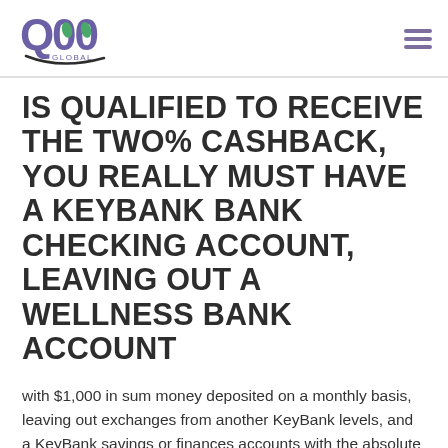Q00 GLOBAL logo and navigation menu
IS QUALIFIED TO RECEIVE THE TWO% CASHBACK, YOU REALLY MUST HAVE A KEYBANK BANK CHECKING ACCOUNT, LEAVING OUT A WELLNESS BANK ACCOUNT
with $1,000 in sum money deposited on a monthly basis, leaving out exchanges from another KeyBank levels, and a KeyBank savings or finances accounts with the absolute minimum daily balance of $1,000. If you do not meet either associated with the feature above after 1 month of any profile gap, you will make 1.5per cent cashback on all eligible spending. We'll determine whether you've got met your budget and conserve factor the finally tuesday of the